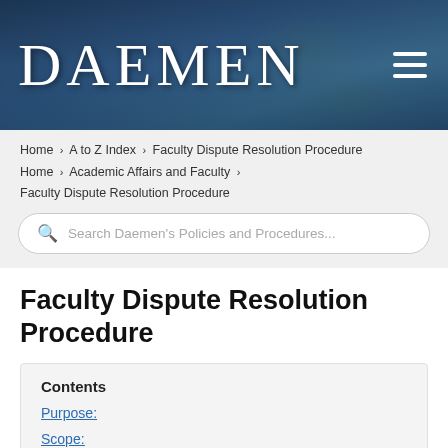[Figure (screenshot): Daemen University website header banner with dark blue overlay showing campus background image, large serif 'DAEMEN' logo in white, and hamburger menu icon on the right]
Home > A to Z Index > Faculty Dispute Resolution Procedure
Home > Academic Affairs and Faculty > Faculty Dispute Resolution Procedure
Search Daemen's Policies and Procedures...
Faculty Dispute Resolution Procedure
Contents
Purpose:
Scope: